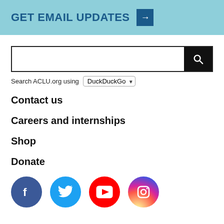GET EMAIL UPDATES →
[Figure (screenshot): Search bar with DuckDuckGo dropdown and search button]
Search ACLU.org using DuckDuckGo
Contact us
Careers and internships
Shop
Donate
[Figure (illustration): Social media icons: Facebook, Twitter, YouTube, Instagram]